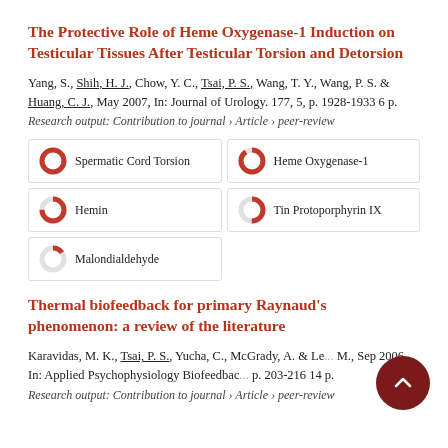The Protective Role of Heme Oxygenase-1 Induction on Testicular Tissues After Testicular Torsion and Detorsion
Yang, S., Shih, H. J., Chow, Y. C., Tsai, P. S., Wang, T. Y., Wang, P. S. & Huang, C. J., May 2007, In: Journal of Urology. 177, 5, p. 1928-1933 6 p.
Research output: Contribution to journal › Article › peer-review
[Figure (infographic): Five keyword badges with donut/pie percentage indicators: Spermatic Cord Torsion (100%), Heme Oxygenase-1 (~90%), Hemin (~75%), Tin Protoporphyrin IX (~50%), Malondialdehyde (~15%)]
Thermal biofeedback for primary Raynaud's phenomenon: a review of the literature
Karavidas, M. K., Tsai, P. S., Yucha, C., McGrady, A. & Le... M., Sep 2006, In: Applied Psychophysiology Biofeedback... p. 203-216 14 p.
Research output: Contribution to journal › Article › peer-review